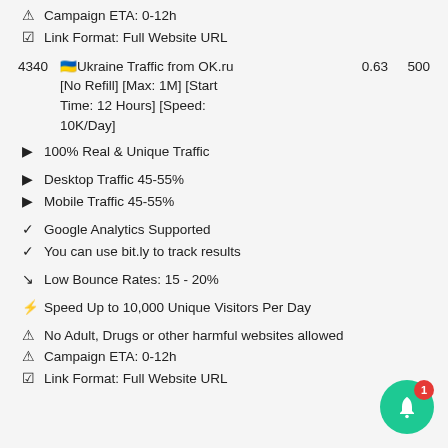⚠ Campaign ETA: 0-12h
☑ Link Format: Full Website URL
4340   🇺🇦Ukraine Traffic from OK.ru [No Refill] [Max: 1M] [Start Time: 12 Hours] [Speed: 10K/Day]   0.63   500
▶ 100% Real & Unique Traffic
▶ Desktop Traffic 45-55%
▶ Mobile Traffic 45-55%
✓ Google Analytics Supported
✓ You can use bit.ly to track results
↘ Low Bounce Rates: 15 - 20%
⚡ Speed Up to 10,000 Unique Visitors Per Day
⚠ No Adult, Drugs or other harmful websites allowed
⚠ Campaign ETA: 0-12h
☑ Link Format: Full Website URL